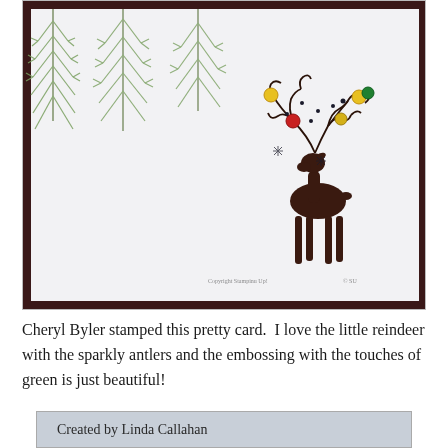[Figure (photo): A handmade Christmas card featuring a stamped reindeer silhouette in dark brown with decorative swirling antlers adorned with colorful ornament-like jewels (yellow, red, green). The background has embossed green pine branch fronds in the upper-left area. The card has a dark brown border frame on a light gray/white card stock.]
Cheryl Byler stamped this pretty card.  I love the little reindeer with the sparkly antlers and the embossing with the touches of green is just beautiful!
[Figure (photo): Partial view of a card or label reading 'Created by Linda Callahan' with additional text cut off below.]